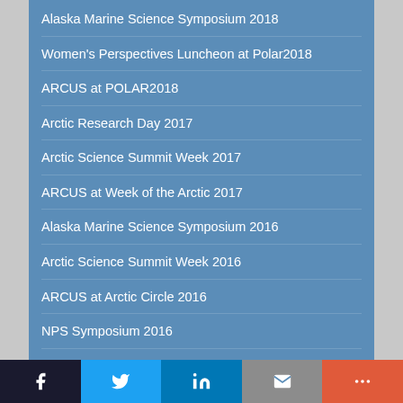Alaska Marine Science Symposium 2018
Women's Perspectives Luncheon at Polar2018
ARCUS at POLAR2018
Arctic Research Day 2017
Arctic Science Summit Week 2017
ARCUS at Week of the Arctic 2017
Alaska Marine Science Symposium 2016
Arctic Science Summit Week 2016
ARCUS at Arctic Circle 2016
NPS Symposium 2016
Arctic Science Ministerial Side-Event 2016